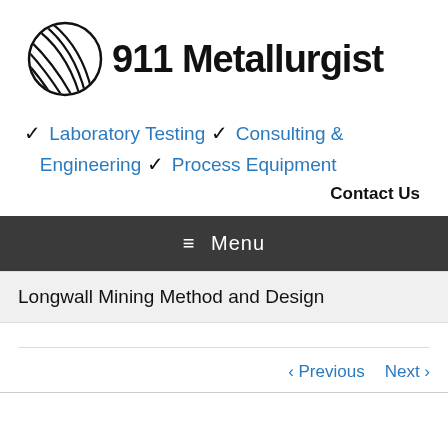[Figure (logo): 911 Metallurgist logo with a globe/sphere icon and bold text '911 Metallurgist']
✓ Laboratory Testing ✓ Consulting & Engineering ✓ Process Equipment
Contact Us
≡ Menu
Longwall Mining Method and Design
‹ Previous   Next ›